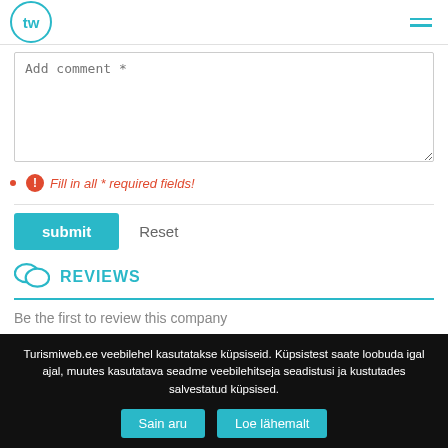tw (logo) | hamburger menu
[Figure (screenshot): Comment text area with placeholder 'Add comment *']
Fill in all * required fields!
[Figure (screenshot): Submit and Reset buttons]
REVIEWS
Be the first to review this company
Turismiweb.ee veebilehel kasutatakse küpsiseid. Küpsistest saate loobuda igal ajal, muutes kasutatava seadme veebilehitseja seadistusi ja kustutades salvestatud küpsised. | Sain aru | Loe lähemalt